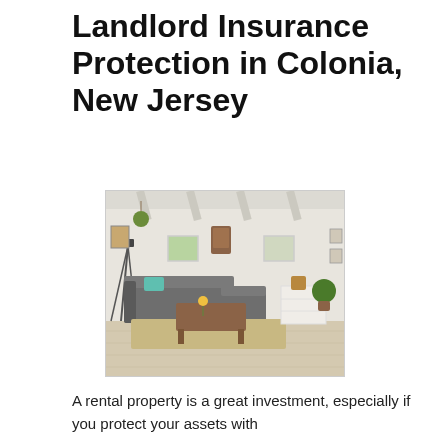Landlord Insurance Protection in Colonia, New Jersey
[Figure (photo): Interior photo of a furnished living room with a gray sectional sofa, teal accent pillows, a wooden coffee table, a wall clock, hanging plants, a camera tripod on the left, white walls with exposed ceiling beams, and light wood flooring.]
A rental property is a great investment, especially if you protect your assets with